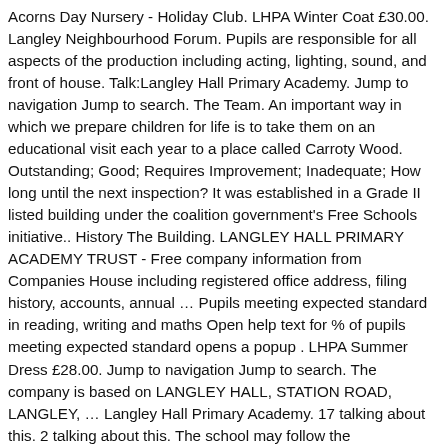Acorns Day Nursery - Holiday Club. LHPA Winter Coat £30.00. Langley Neighbourhood Forum. Pupils are responsible for all aspects of the production including acting, lighting, sound, and front of house. Talk:Langley Hall Primary Academy. Jump to navigation Jump to search. The Team. An important way in which we prepare children for life is to take them on an educational visit each year to a place called Carroty Wood. Outstanding; Good; Requires Improvement; Inadequate; How long until the next inspection? It was established in a Grade II listed building under the coalition government's Free Schools initiative.. History The Building. LANGLEY HALL PRIMARY ACADEMY TRUST - Free company information from Companies House including registered office address, filing history, accounts, annual … Pupils meeting expected standard in reading, writing and maths Open help text for % of pupils meeting expected standard opens a popup . LHPA Summer Dress £28.00. Jump to navigation Jump to search. The company is based on LANGLEY HALL, STATION ROAD, LANGLEY, … Langley Hall Primary Academy. 17 talking about this. 2 talking about this. The school may follow the